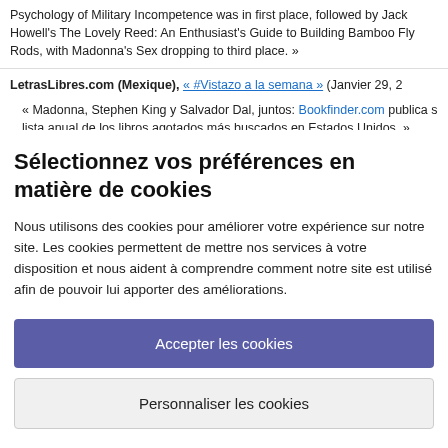Psychology of Military Incompetence was in first place, followed by Jack Howell's The Lovely Reed: An Enthusiast's Guide to Building Bamboo Fly Rods, with Madonna's Sex dropping to third place. »
LetrasLibres.com (Mexique), « #Vistazo a la semana » (Janvier 29, 2...
« Madonna, Stephen King y Salvador Dal, juntos: Bookfinder.com publica s lista anual de los libros agotados más buscados en Estados Unidos. »
Sélectionnez vos préférences en matière de cookies
Nous utilisons des cookies pour améliorer votre expérience sur notre site. Les cookies permettent de mettre nos services à votre disposition et nous aident à comprendre comment notre site est utilisé afin de pouvoir lui apporter des améliorations.
Accepter les cookies
Personnaliser les cookies